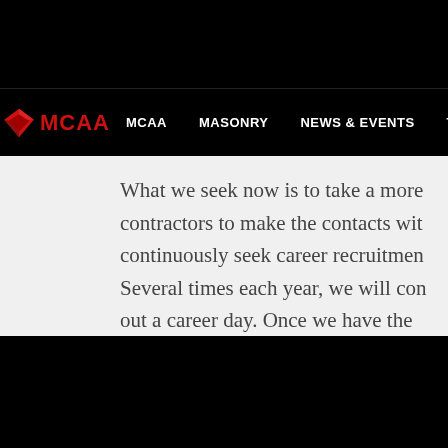[Figure (screenshot): MCAA website navigation bar with logo (red diamond shape with MCAA text in red) and navigation links: MCAA, MASONRY, NEWS & EVENTS, TECHNICAL, ADVOC...]
What we seek now is to take a more contractors to make the contacts wit continuously seek career recruitmen Several times each year, we will con out a career day. Once we have the